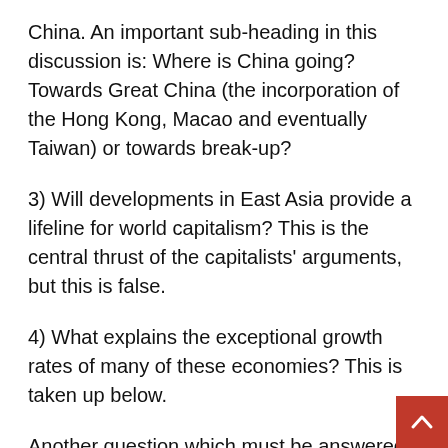China. An important sub-heading in this discussion is: Where is China going? Towards Great China (the incorporation of the Hong Kong, Macao and eventually Taiwan) or towards break-up?
3) Will developments in East Asia provide a lifeline for world capitalism? This is the central thrust of the capitalists' arguments, but this is false.
4) What explains the exceptional growth rates of many of these economies? This is taken up below.
Another question which must be answered, which runs like a thread through this discussion, concerns the implications of developments in East Asia for the working class movement and the CWI. The CWI's analysis of Stalinism's collapse and its international consequences was an important factor